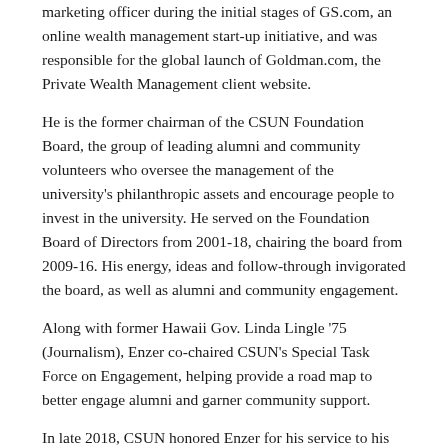marketing officer during the initial stages of GS.com, an online wealth management start-up initiative, and was responsible for the global launch of Goldman.com, the Private Wealth Management client website.
He is the former chairman of the CSUN Foundation Board, the group of leading alumni and community volunteers who oversee the management of the university's philanthropic assets and encourage people to invest in the university. He served on the Foundation Board of Directors from 2001-18, chairing the board from 2009-16. His energy, ideas and follow-through invigorated the board, as well as alumni and community engagement.
Along with former Hawaii Gov. Linda Lingle '75 (Journalism), Enzer co-chaired CSUN's Special Task Force on Engagement, helping provide a road map to better engage alumni and garner community support.
In late 2018, CSUN honored Enzer for his service to his alma mater